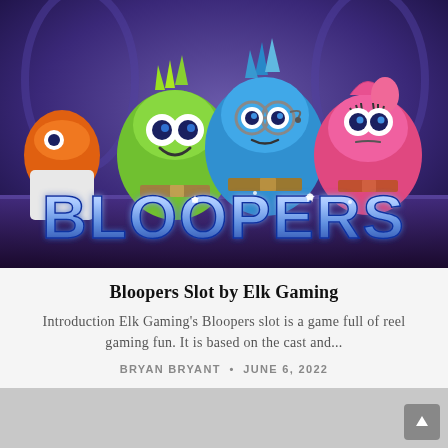[Figure (illustration): Promotional image for Bloopers slot game by Elk Gaming showing three cartoon alien/creature characters — green, blue, and pink — against a stylized interior background, with the word BLOOPERS in large shiny blue metallic letters at the bottom of the image.]
Bloopers Slot by Elk Gaming
Introduction Elk Gaming's Bloopers slot is a game full of reel gaming fun. It is based on the cast and...
BRYAN BRYANT • JUNE 6, 2022